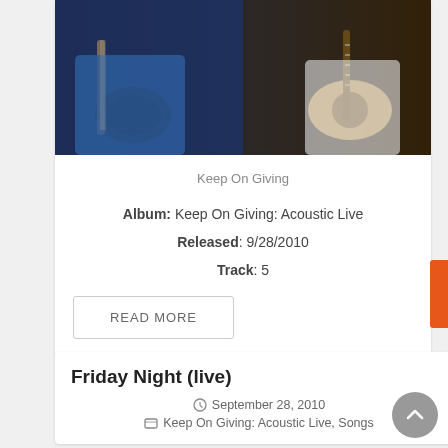[Figure (photo): Two musicians playing acoustic guitars on a dark stage, one wearing a blue shirt]
Keep On Giving
Album: Keep On Giving: Acoustic Live
Released: 9/28/2010
Track: 5
Friday Night (live)
September 28, 2010
Keep On Giving: Acoustic Live, Songs